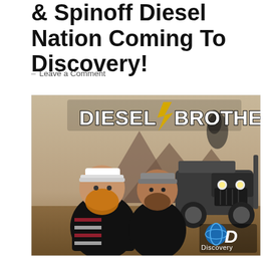& Spinoff Diesel Nation Coming To Discovery!
— Leave a Comment
[Figure (photo): Promotional image for the Discovery Channel show 'Diesel Brothers' featuring two bearded men in black t-shirts posing in front of a large off-road truck/Jeep in a desert landscape, with the 'Diesel Brothers' logo at the top and the Discovery Channel logo at the bottom right.]